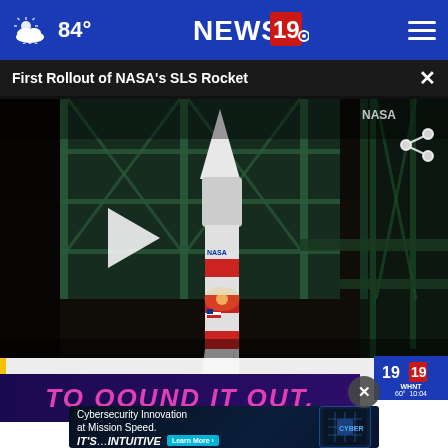84° NEWS 19
First Rollout of NASA's SLS Rocket
[Figure (photo): Night-time video still of NASA's SLS rocket on the launch platform with a play button overlay. Lower third banner reads 'FIRST ROLLOUT OF NASA'S SLS ROCKET' with News 19 logo showing 60° and 10:04.]
TOOUND IT OUT.
[Figure (infographic): Advertisement banner: Cybersecurity Innovation at Mission Speed. IT'S INTUITIVE. Learn More button. CYBER graphic on right side.]